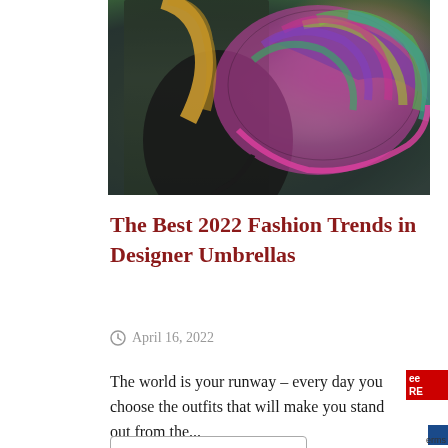[Figure (photo): A woman with blonde hair wearing a black jacket, holding a colorful peacock-feather patterned umbrella with purple, green, teal, and pink colors, against a blurred outdoor background.]
The Best 2022 Fashion Trends in Designer Umbrellas
April 16, 2022
The world is your runway – every day you choose the outfits that will make you stand out from the...